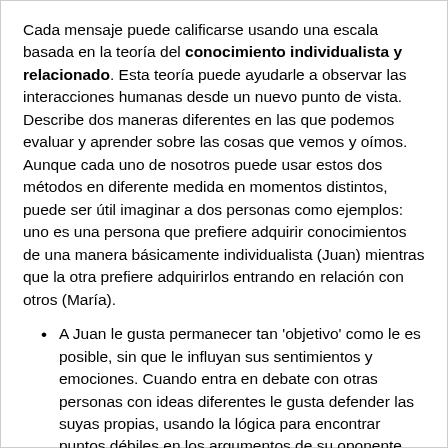Cada mensaje puede calificarse usando una escala basada en la teoría del conocimiento individualista y relacionado. Esta teoría puede ayudarle a observar las interacciones humanas desde un nuevo punto de vista. Describe dos maneras diferentes en las que podemos evaluar y aprender sobre las cosas que vemos y oímos. Aunque cada uno de nosotros puede usar estos dos métodos en diferente medida en momentos distintos, puede ser útil imaginar a dos personas como ejemplos: uno es una persona que prefiere adquirir conocimientos de una manera básicamente individualista (Juan) mientras que la otra prefiere adquirirlos entrando en relación con otros (María).
A Juan le gusta permanecer tan 'objetivo' como le es posible, sin que le influyan sus sentimientos y emociones. Cuando entra en debate con otras personas con ideas diferentes le gusta defender las suyas propias, usando la lógica para encontrar puntos débiles en los argumentos de su oponente. Es crítico con las nuevas ideas a menos que sean hechos probados de fuentes reputadas, como libros de texto, profesores respetados o su propia experiencia directa. Juan adquiere los